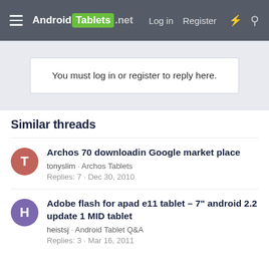Android Tablets .net  Log in  Register
You must log in or register to reply here.
Similar threads
Archos 70 downloadin Google market place
tonyslim · Archos Tablets
Replies: 7 · Dec 30, 2010
Adobe flash for apad e11 tablet – 7" android 2.2 update 1 MID tablet
heistsj · Android Tablet Q&A
Replies: 3 · Mar 16, 2011